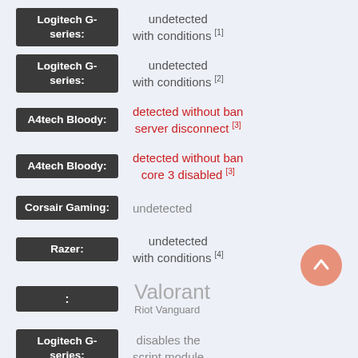Logitech G-series: undetected with conditions [1]
Logitech G-series: undetected with conditions [2]
A4tech Bloody: detected without ban server disconnect [3]
A4tech Bloody: detected without ban core 3 disabled [3]
Corsair Gaming: undetected
Razer: undetected with conditions [4]
: Valorant Riot Vanguard
Logitech G-series: disables the script module